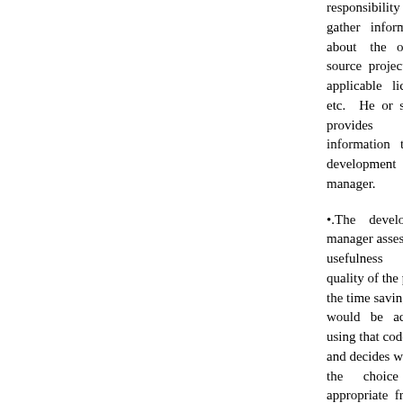responsibility to gather information about the open source project, the applicable license, etc. He or she provides that information to the development manager.
•.The development manager assesses the usefulness and quality of the project, the time savings that would be achieved using that code, etc., and decides whether the choice is appropriate from a development perspective.
•.The development manager consults with in-house or outside legal counsel who reviews the license, the proposed use and the business objectives, and determines that the